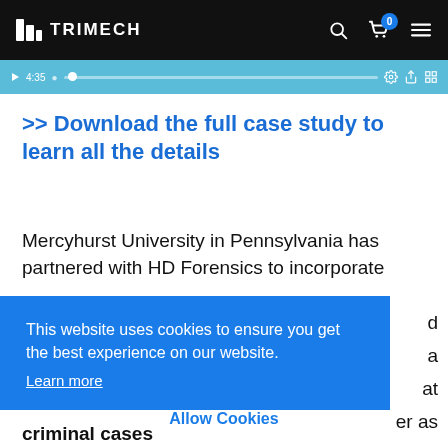TRIMECH
[Figure (screenshot): Video player progress bar showing 4:35 timestamp with playback controls]
>> Download the full case study to learn all the details
Mercyhurst University in Pennsylvania has partnered with HD Forensics to incorporate
This website uses cookies to ensure you get the best experience on our website. Learn more
Allow Cookies
criminal cases